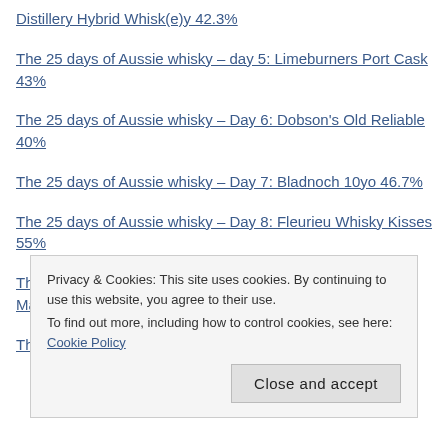Distillery Hybrid Whisk(e)y 42.3%
The 25 days of Aussie whisky – day 5: Limeburners Port Cask 43%
The 25 days of Aussie whisky – Day 6: Dobson's Old Reliable 40%
The 25 days of Aussie whisky – Day 7: Bladnoch 10yo 46.7%
The 25 days of Aussie whisky – Day 8: Fleurieu Whisky Kisses 55%
The 25 days of Aussie whisky – Day 9: Tiger Snake Sour Mash Whiskey 43%
The 25 days of Aussie whisky – Day 10: ... (partially visible)
Privacy & Cookies: This site uses cookies. By continuing to use this website, you agree to their use.
To find out more, including how to control cookies, see here: Cookie Policy
Close and accept